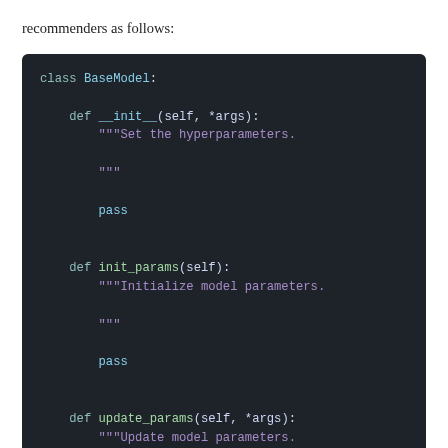recommenders as follows:
[Figure (screenshot): Python code block showing a BaseModel class definition with three methods: __init__, init_params, and update_params, each with a docstring and a pass statement. Dark background code editor style.]